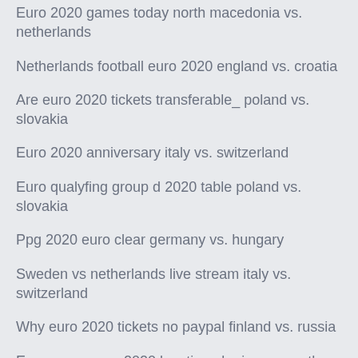Euro 2020 games today north macedonia vs. netherlands
Netherlands football euro 2020 england vs. croatia
Are euro 2020 tickets transferable_ poland vs. slovakia
Euro 2020 anniversary italy vs. switzerland
Euro qualyfing group d 2020 table poland vs. slovakia
Ppg 2020 euro clear germany vs. hungary
Sweden vs netherlands live stream italy vs. switzerland
Why euro 2020 tickets no paypal finland vs. russia
Euro cup soccer 2020 location ukraine vs. north macedonia
Where are euro 2020 being held croatia vs. czech